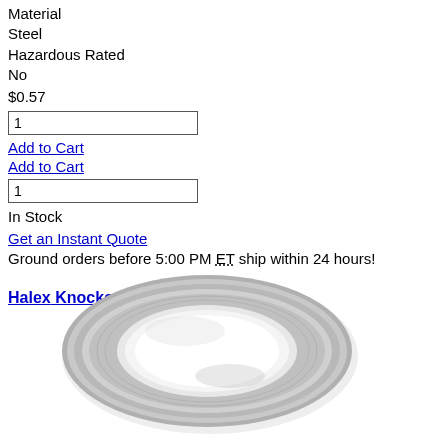Material
Steel
Hazardous Rated
No
$0.57
1 (quantity input)
Add to Cart
Add to Cart
1 (quantity input)
In Stock
Get an Instant Quote
Ground orders before 5:00 PM ET ship within 24 hours!
Halex Knockout Reducing Washers
[Figure (photo): A metallic steel knockout reducing washer, round annular ring shape, silver/galvanized finish, viewed from above.]